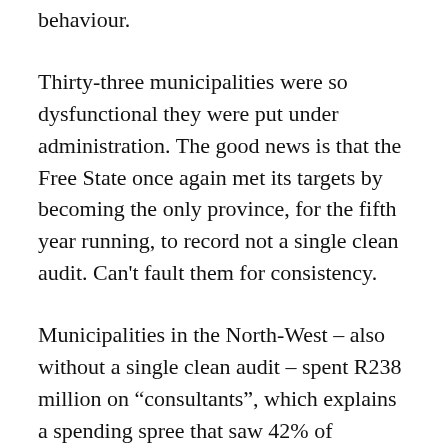behaviour.
Thirty-three municipalities were so dysfunctional they were put under administration. The good news is that the Free State once again met its targets by becoming the only province, for the fifth year running, to record not a single clean audit. Can't fault them for consistency.
Municipalities in the North-West – also without a single clean audit – spent R238 million on “consultants”, which explains a spending spree that saw 42% of procurement worth billions being declared irregular. My kind of consultant. Spend as much as you like on whatever you